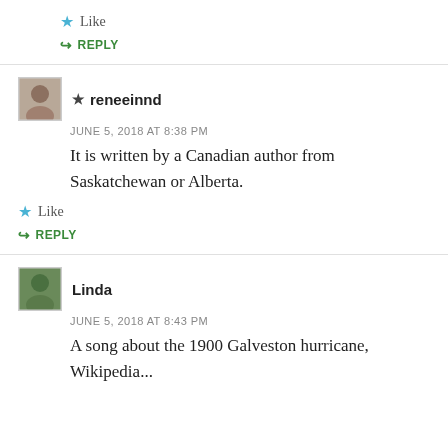Like
↳ REPLY
★ reneeinnd
JUNE 5, 2018 AT 8:38 PM
It is written by a Canadian author from Saskatchewan or Alberta.
Like
↳ REPLY
Linda
JUNE 5, 2018 AT 8:43 PM
A song about the 1900 Galveston hurricane, Wikipedia...